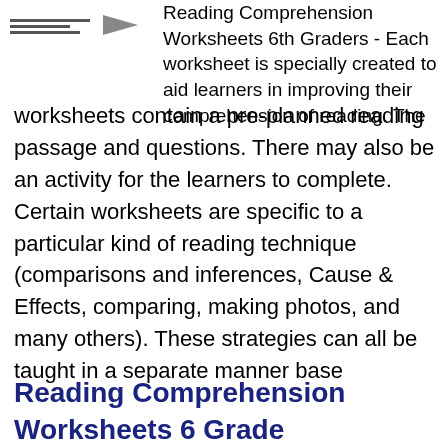Reading Comprehension Worksheets 6th Graders - Each worksheet is specially created to aid learners in improving their comprehension of reading. The worksheets contain a pre-planned reading passage and questions. There may also be an activity for the learners to complete. Certain worksheets are specific to a particular kind of reading technique (comparisons and inferences, Cause & Effects, comparing, making photos, and many others). These strategies can all be taught in a separate manner base
Reading Comprehension Worksheets 6 Grade...